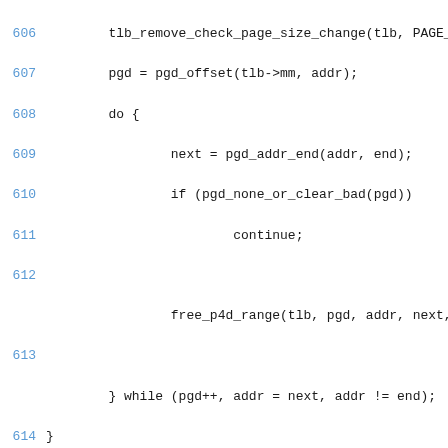Source code listing, lines 606-622, showing C kernel memory management code including free_pgtables function definition and related page table operations.